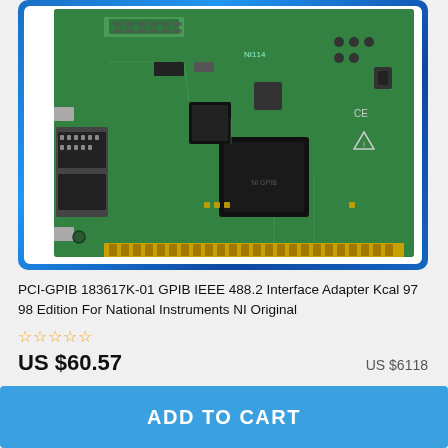[Figure (photo): PCI-GPIB 183617K-01 circuit board / interface adapter card for National Instruments NI, shown against a white background inside a blue-bordered product card frame. The green PCB has a DB-25 connector on the left, a large black IC chip in the center-right, and gold edge connector pins at the bottom.]
PCI-GPIB 183617K-01 GPIB IEEE 488.2 Interface Adapter Kcal 97 98 Edition For National Instruments NI Original
☆☆☆☆☆
US $60.57
US $6118
ADD TO CART